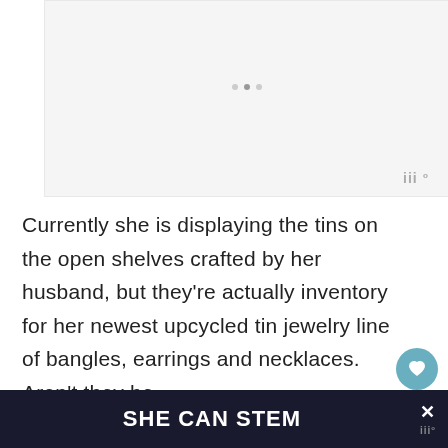[Figure (other): A light gray placeholder image area with three navigation dots and a logo watermark in the lower right corner]
Currently she is displaying the tins on the open shelves crafted by her husband, but they’re actually inventory for her newest upcycled tin jewelry line of bangles, earrings and necklaces. Aren’t they be...
SHE CAN STEM